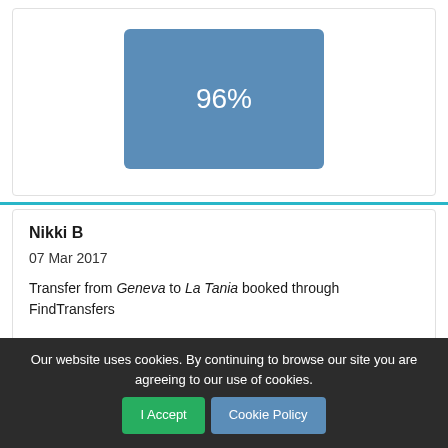[Figure (infographic): A blue rounded rectangle displaying '96%' in white text, centered on a white card background.]
Nikki B
07 Mar 2017
Transfer from Geneva to La Tania booked through FindTransfers
Punctual, friendly and had great local knowledge to make our transfer on a crazy busy half term Saturday as painless as possible. So organised, helpful, proactively let us know a lot of
Our website uses cookies. By continuing to browse our site you are agreeing to our use of cookies.